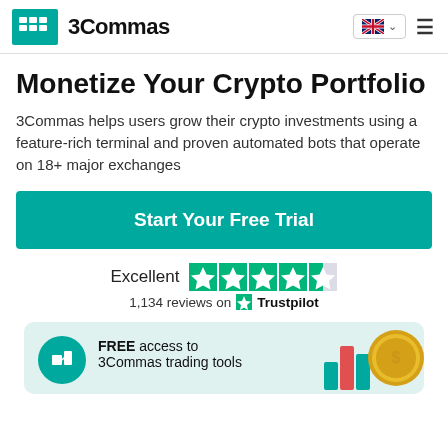3Commas
Monetize Your Crypto Portfolio
3Commas helps users grow their crypto investments using a feature-rich terminal and proven automated bots that operate on 18+ major exchanges
Start Your Free Trial
Excellent  1,134 reviews on Trustpilot
[Figure (infographic): Promotional card showing FREE access to 3Commas trading tools with teal icon, teal/red bar chart and coin illustration]
FREE access to 3Commas trading tools